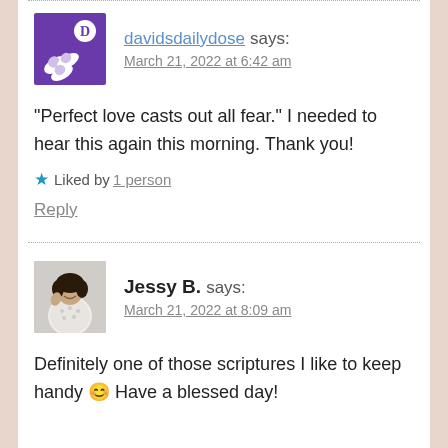davidsdailydose says:
March 21, 2022 at 6:42 am
“Perfect love casts out all fear.” I needed to hear this again this morning. Thank you!
Liked by 1 person
Reply
Jessy B. says:
March 21, 2022 at 8:09 am
Definitely one of those scriptures I like to keep handy 😊 Have a blessed day!